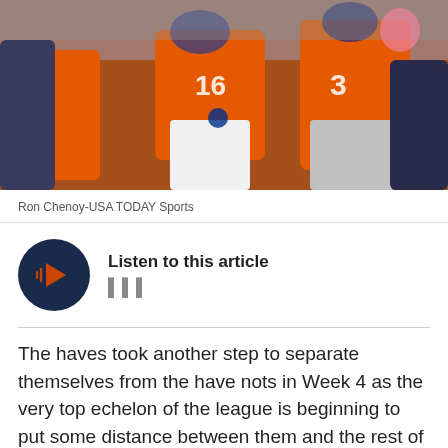[Figure (photo): Football players in orange Denver Broncos jerseys during a game, including player #16 and player #3, with a crowd visible in the background]
Ron Chenoy-USA TODAY Sports
[Figure (other): Listen to this article audio player widget with dark navy circular play button with orange play icon and waveform bars indicator]
The haves took another step to separate themselves from the have nots in Week 4 as the very top echelon of the league is beginning to put some distance between them and the rest of the NFL. Fortunately for us, the Denver Broncos are among those teams.